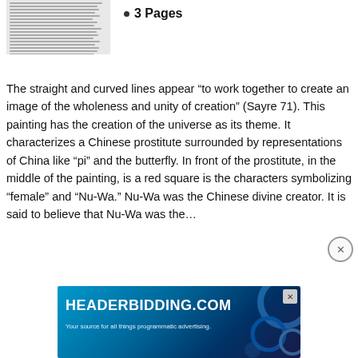[Figure (other): Thumbnail image of a document page with small text lines]
3 Pages
The straight and curved lines appear “to work together to create an image of the wholeness and unity of creation” (Sayre 71). This painting has the creation of the universe as its theme. It characterizes a Chinese prostitute surrounded by representations of China like “pi” and the butterfly. In front of the prostitute, in the middle of the painting, is a red square is the characters symbolizing “female” and “Nu-Wa.” Nu-Wa was the Chinese divine creator. It is said to believe that Nu-Wa was the…
[Figure (other): Advertisement banner for HEADERBIDDING.COM with text: Your source for all things programmatic advertising.]